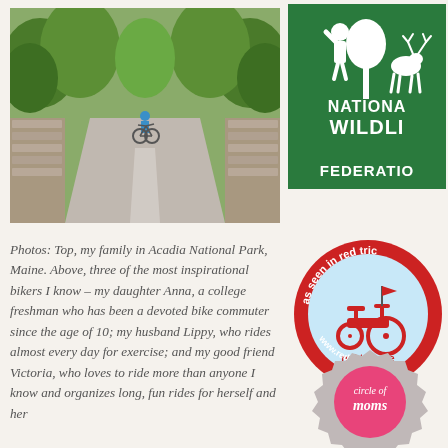[Figure (photo): Photo of a cyclist on a stone bridge path in a tree-lined park (Acadia National Park, Maine)]
[Figure (logo): National Wildlife Federation logo — green square with silhouettes of a child, deer, and tree, with text NATIONAL WILDLIFE FEDERATION]
Photos: Top, my family in Acadia National Park, Maine. Above, three of the most inspirational bikers I know – my daughter Anna, a college freshman who has been a devoted bike commuter since the age of 10; my husband Lippy, who rides almost every day for exercise; and my good friend Victoria, who loves to ride more than anyone I know and organizes long, fun rides for herself and her
[Figure (logo): Red Tricycle badge — circular badge with red border, red tricycle image, text 'as seen in red tricycle' and 'www.redtri.com']
[Figure (logo): Circle of Moms badge — pink and grey gear/badge shape with text 'circle of moms']